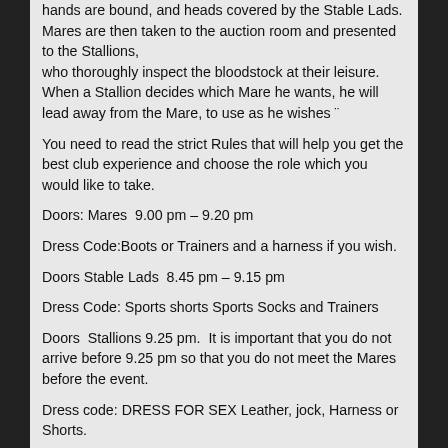hands are bound, and heads covered by the Stable Lads. Mares are then taken to the auction room and presented to the Stallions, who thoroughly inspect the bloodstock at their leisure. When a Stallion decides which Mare he wants, he will lead away from the Mare, to use as he wishes ¨
You need to read the strict Rules that will help you get the best club experience and choose the role which you would like to take.
Doors: Mares  9.00 pm – 9.20 pm
Dress Code:Boots or Trainers and a harness if you wish.
Doors Stable Lads  8.45 pm – 9.15 pm
Dress Code: Sports shorts Sports Socks and Trainers
Doors  Stallions 9.25 pm.  It is important that you do not arrive before 9.25 pm so that you do not meet the Mares before the event.
Dress code: DRESS FOR SEX Leather, jock, Harness or Shorts.
OVERALL EXPERIENCE